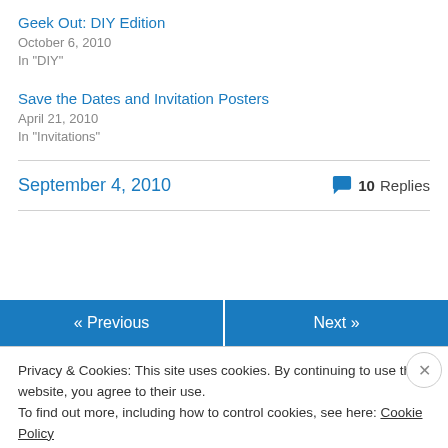Geek Out: DIY Edition
October 6, 2010
In "DIY"
Save the Dates and Invitation Posters
April 21, 2010
In "Invitations"
September 4, 2010   💬 10 Replies
« Previous   Next »
Privacy & Cookies: This site uses cookies. By continuing to use this website, you agree to their use.
To find out more, including how to control cookies, see here: Cookie Policy
Close and accept